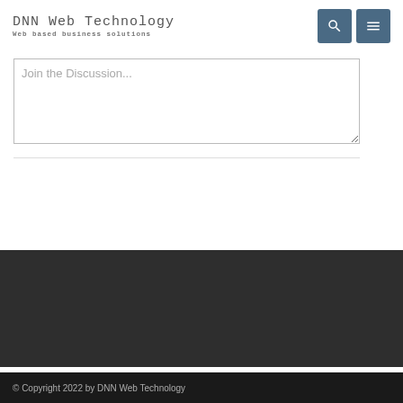DNN Web Technology
Web based business solutions
Join the Discussion...
© Copyright 2022 by DNN Web Technology